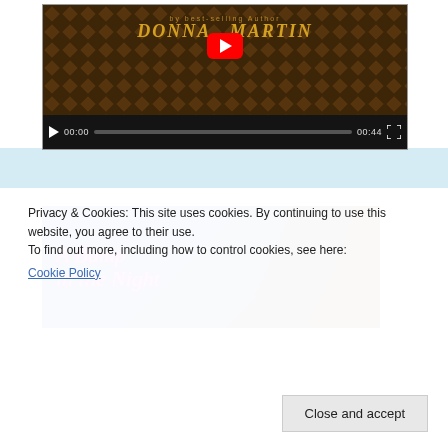[Figure (screenshot): YouTube video player showing Donna Martin author video with dark diamond-pattern background. Controls show 00:00 / 00:44 timestamp with play button and fullscreen icon.]
[Figure (photo): Book cover image showing 'A Bump in the Night' with neon pink cursive text on a blue and brown background.]
Privacy & Cookies: This site uses cookies. By continuing to use this website, you agree to their use.
To find out more, including how to control cookies, see here:
Cookie Policy
Close and accept